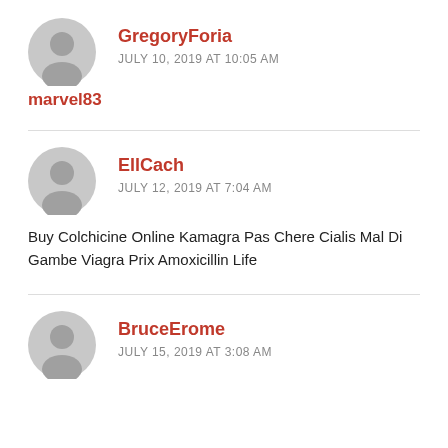GregoryForia
JULY 10, 2019 AT 10:05 AM
marvel83
EllCach
JULY 12, 2019 AT 7:04 AM
Buy Colchicine Online Kamagra Pas Chere Cialis Mal Di Gambe Viagra Prix Amoxicillin Life
BruceErome
JULY 15, 2019 AT 3:08 AM